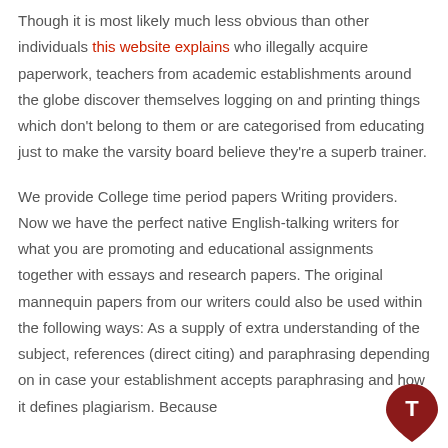Though it is most likely much less obvious than other individuals this website explains who illegally acquire paperwork, teachers from academic establishments around the globe discover themselves logging on and printing things which don't belong to them or are categorised from educating just to make the varsity board believe they're a superb trainer.
We provide College time period papers Writing providers. Now we have the perfect native English-talking writers for what you are promoting and educational assignments together with essays and research papers. The original mannequin papers from our writers could also be used within the following ways: As a supply of extra understanding of the subject, references (direct citing) and paraphrasing depending on in case your establishment accepts paraphrasing and how it defines plagiarism. Because
[Figure (logo): Dark red location pin / badge icon with a 'T' symbol inside, positioned in the bottom-right corner]